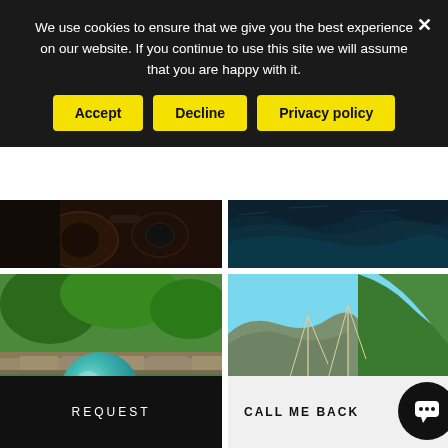We use cookies to ensure that we give you the best experience on our website. If you continue to use this site we will assume that you are happy with it.
Accept
Decline
Privacy policy
[Figure (photo): Partial dark photo strip at top, left side showing dark equipment/gear]
[Figure (photo): Partial dark photo strip at top, right side showing water/waves]
[Figure (photo): Wellness card: outdoor scene with teal sphere/ball, greenery and stone wall background]
Wellness
Rejuvenate your Body, Mind & Spirit
[Figure (photo): Yachting card: sailboats moored in clear turquoise Greek sea with rocky green hillside]
Yachting
Cruising through the immaculate Greek seas
REQUEST
CALL ME BACK